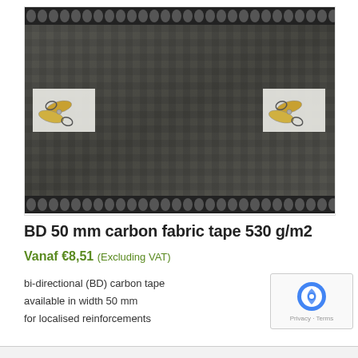[Figure (photo): Close-up photo of bi-directional carbon fabric tape with woven texture, showing dark grey/black weave pattern with two small scissors icons overlaid on the left and right sides.]
BD 50 mm carbon fabric tape 530 g/m2
Vanaf €8,51 (Excluding VAT)
bi-directional (BD) carbon tape
available in width 50 mm
for localised reinforcements